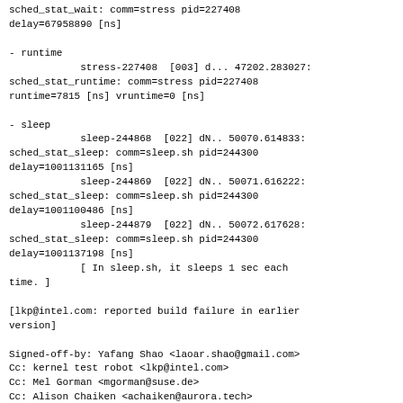sched_stat_wait: comm=stress pid=227408
delay=67958890 [ns]

- runtime
            stress-227408  [003] d... 47202.283027:
sched_stat_runtime: comm=stress pid=227408
runtime=7815 [ns] vruntime=0 [ns]

- sleep
            sleep-244868  [022] dN.. 50070.614833:
sched_stat_sleep: comm=sleep.sh pid=244300
delay=1001131165 [ns]
            sleep-244869  [022] dN.. 50071.616222:
sched_stat_sleep: comm=sleep.sh pid=244300
delay=1001100486 [ns]
            sleep-244879  [022] dN.. 50072.617628:
sched_stat_sleep: comm=sleep.sh pid=244300
delay=1001137198 [ns]
            [ In sleep.sh, it sleeps 1 sec each
time. ]

[lkp@intel.com: reported build failure in earlier
version]

Signed-off-by: Yafang Shao <laoar.shao@gmail.com>
Cc: kernel test robot <lkp@intel.com>
Cc: Mel Gorman <mgorman@suse.de>
Cc: Alison Chaiken <achaiken@aurora.tech>
---
kernel/sched/rt.c | 141